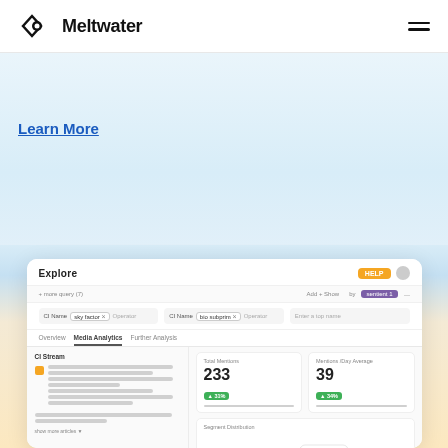Meltwater
Learn More
[Figure (screenshot): Meltwater Explore dashboard UI screenshot showing search filters, metrics (Total Mentions: 233, Mentions/Day Average: 39), and a Segment Distribution bubble chart with red and blue clusters.]